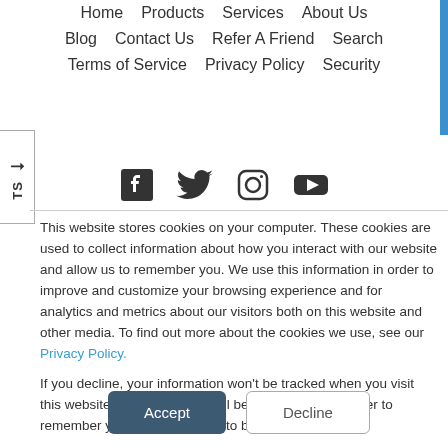Home  Products  Services  About Us
Blog  Contact Us  Refer A Friend  Search
Terms of Service  Privacy Policy  Security
[Figure (illustration): Social media icons: Facebook, Twitter, Instagram, YouTube]
This website stores cookies on your computer. These cookies are used to collect information about how you interact with our website and allow us to remember you. We use this information in order to improve and customize your browsing experience and for analytics and metrics about our visitors both on this website and other media. To find out more about the cookies we use, see our Privacy Policy.
If you decline, your information won't be tracked when you visit this website. A single cookie will be used in your browser to remember your preference not to be tracked.